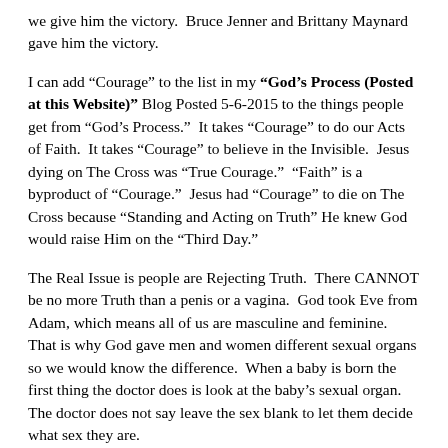we give him the victory.  Bruce Jenner and Brittany Maynard gave him the victory.
I can add “Courage” to the list in my “God’s Process (Posted at this Website)” Blog Posted 5-6-2015 to the things people get from “God’s Process.”  It takes “Courage” to do our Acts of Faith.  It takes “Courage” to believe in the Invisible.  Jesus dying on The Cross was “True Courage.”  “Faith” is a byproduct of “Courage.”  Jesus had “Courage” to die on The Cross because “Standing and Acting on Truth” He knew God would raise Him on the “Third Day.”
The Real Issue is people are Rejecting Truth.  There CANNOT be no more Truth than a penis or a vagina.  God took Eve from Adam, which means all of us are masculine and feminine.  That is why God gave men and women different sexual organs so we would know the difference.  When a baby is born the first thing the doctor does is look at the baby’s sexual organ.  The doctor does not say leave the sex blank to let them decide what sex they are.